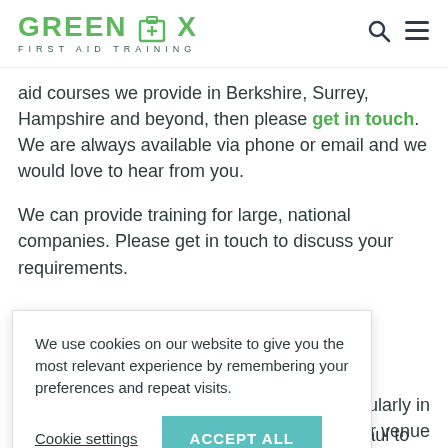GREENBOX FIRST AID TRAINING
aid courses we provide in Berkshire, Surrey, Hampshire and beyond, then please get in touch. We are always available via phone or email and we would love to hear from you.
We can provide training for large, national companies. Please get in touch to discuss your requirements.
We use cookies on our website to give you the most relevant experience by remembering your preferences and repeat visits.
Cookie settings  ACCEPT ALL
particularly in our venue gular dates ates that you
may need to fill. Please get in touch with Paul to